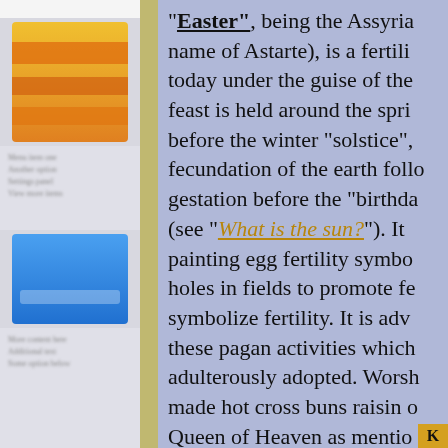[Figure (screenshot): Left sidebar panel with blurred UI widgets including a yellow/orange gradient widget, gray area with blurred text, a blue widget, and more blurred text below]
"Easter", being the Assyrian name of Astarte), is a fertility today under the guise of the feast is held around the spring before the winter "solstice", fecundation of the earth following gestation before the "birthday (see "What is the sun?"). It painting egg fertility symbols holes in fields to promote fertility symbolize fertility. It is adulterously adopted. Worship made hot cross buns raisin Queen of Heaven as mentioned ("Jeremiah"). As for eating you, remember what the